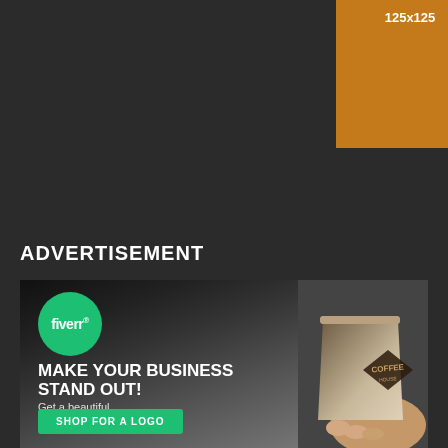[Figure (other): Orange/brown square placeholder ad unit labeled 125x125]
ADVERTISEMENT
[Figure (illustration): Fiverr advertisement banner: green Fiverr logo circle, headline 'MAKE YOUR BUSINESS STAND OUT!', subtext 'Get a beautiful customized logo today', green 'SHOP FOR A LOGO' button, coffee cup with COFFEE label on right side, dark background photo style]